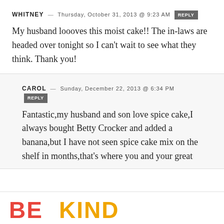WHITNEY — THURSDAY, OCTOBER 31, 2013 @ 9:23 AM [REPLY]
My husband loooves this moist cake!! The in-laws are headed over tonight so I can't wait to see what they think. Thank you!
CAROL — SUNDAY, DECEMBER 22, 2013 @ 6:34 PM [REPLY]
Fantastic,my husband and son love spice cake,I always bought Betty Crocker and added a banana,but I have not seen spice cake mix on the shelf in months,that's where you and your great
[Figure (other): Advertisement banner reading 'BE KIND' in large red and orange text with a decorative floral/script graphic element on the right side and close buttons]